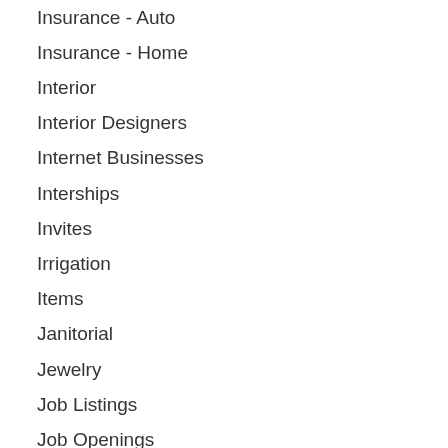Insurance - Auto
Insurance - Home
Interior
Interior Designers
Internet Businesses
Interships
Invites
Irrigation
Items
Janitorial
Jewelry
Job Listings
Job Openings
Junk Hauling
Kennels